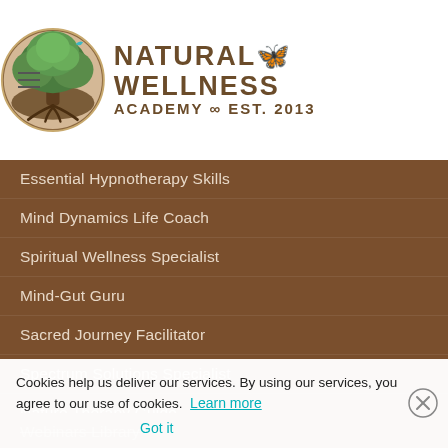[Figure (logo): Natural Wellness Academy logo with tree graphic and Est. 2013]
Essential Hypnotherapy Skills
Mind Dynamics Life Coach
Spiritual Wellness Specialist
Mind-Gut Guru
Sacred Journey Facilitator
Spectrum Solutions Specialist
Nature Therapy Guide
Essential Effective Coaching
Webinars Library
Cookies help us deliver our services. By using our services, you agree to our use of cookies. Learn more  Got it